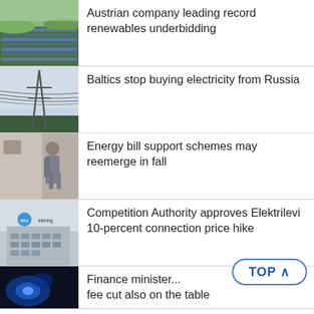[Figure (photo): Aerial view of solar panel fields on green farmland]
Austrian company leading record renewables underbidding
[Figure (photo): Electricity transmission tower and power lines against overcast sky]
Baltics stop buying electricity from Russia
[Figure (photo): Woman walking past a building, blurred motion]
Energy bill support schemes may reemerge in fall
[Figure (photo): Elering building exterior with logo]
Competition Authority approves Elektrilevi 10-percent connection price hike
[Figure (photo): Blue glowing abstract energy image]
Finance minister... fee cut also on the table